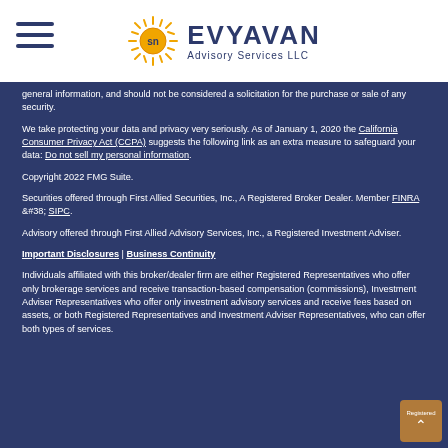Evyavan Advisory Services LLC
general information, and should not be considered a solicitation for the purchase or sale of any security.
We take protecting your data and privacy very seriously. As of January 1, 2020 the California Consumer Privacy Act (CCPA) suggests the following link as an extra measure to safeguard your data: Do not sell my personal information.
Copyright 2022 FMG Suite.
Securities offered through First Allied Securities, Inc., A Registered Broker Dealer. Member FINRA &#38; SIPC.
Advisory offered through First Allied Advisory Services, Inc., a Registered Investment Adviser.
Important Disclosures | Business Continuity
Individuals affiliated with this broker/dealer firm are either Registered Representatives who offer only brokerage services and receive transaction-based compensation (commissions), Investment Adviser Representatives who offer only investment advisory services and receive fees based on assets, or both Registered Representatives and Investment Adviser Representatives, who can offer both types of services.